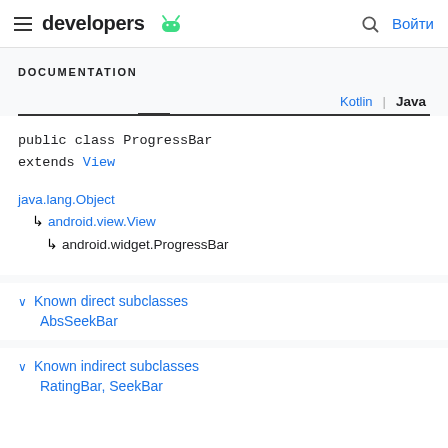developers [android logo] | Войти
DOCUMENTATION
Kotlin | Java
public class ProgressBar
extends View
java.lang.Object
↳ android.view.View
↳ android.widget.ProgressBar
∨ Known direct subclasses
AbsSeekBar
∨ Known indirect subclasses
RatingBar, SeekBar